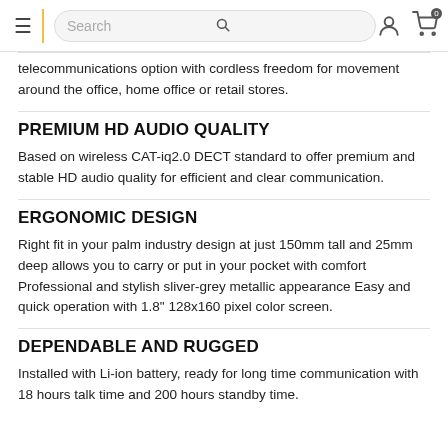Search
telecommunications option with cordless freedom for movement around the office, home office or retail stores.
PREMIUM HD AUDIO QUALITY
Based on wireless CAT-iq2.0 DECT standard to offer premium and stable HD audio quality for efficient and clear communication.
ERGONOMIC DESIGN
Right fit in your palm industry design at just 150mm tall and 25mm deep allows you to carry or put in your pocket with comfort Professional and stylish sliver-grey metallic appearance Easy and quick operation with 1.8" 128x160 pixel color screen.
DEPENDABLE AND RUGGED
Installed with Li-ion battery, ready for long time communication with 18 hours talk time and 200 hours standby time.